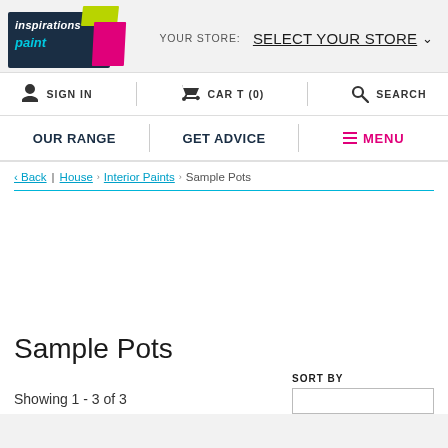[Figure (logo): Inspirations Paint logo with dark navy background, green and pink accent shapes, white italic 'inspirations' text and cyan 'paint' text]
YOUR STORE: Select your store ›
SIGN IN
CART (0)
SEARCH
OUR RANGE
GET ADVICE
MENU
‹ Back › House › Interior Paints › Sample Pots
Sample Pots
Showing 1 - 3 of 3
SORT BY